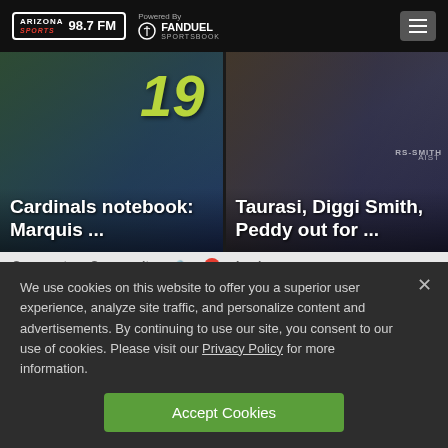Arizona Sports 98.7 FM — Powered By FanDuel Sportsbook
[Figure (photo): News card: Cardinals notebook article with player wearing jersey number 19]
[Figure (photo): News card: Taurasi, Diggi Smith, Peddy out for ... article with basketball player]
Cardinals notebook: Marquis ...
Taurasi, Diggi Smith, Peddy out for ...
Comments   Community   🔒   1   Login
We use cookies on this website to offer you a superior user experience, analyze site traffic, and personalize content and advertisements. By continuing to use our site, you consent to our use of cookies. Please visit our Privacy Policy for more information.
Accept Cookies